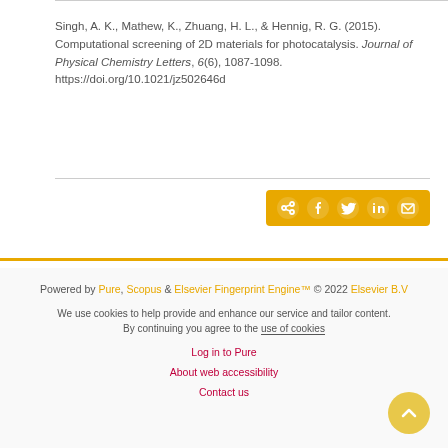Singh, A. K., Mathew, K., Zhuang, H. L., & Hennig, R. G. (2015). Computational screening of 2D materials for photocatalysis. Journal of Physical Chemistry Letters, 6(6), 1087-1098. https://doi.org/10.1021/jz502646d
[Figure (other): Social share bar with icons for share, Facebook, Twitter, LinkedIn, and email on a gold/amber background]
Powered by Pure, Scopus & Elsevier Fingerprint Engine™ © 2022 Elsevier B.V
We use cookies to help provide and enhance our service and tailor content. By continuing you agree to the use of cookies
Log in to Pure
About web accessibility
Contact us